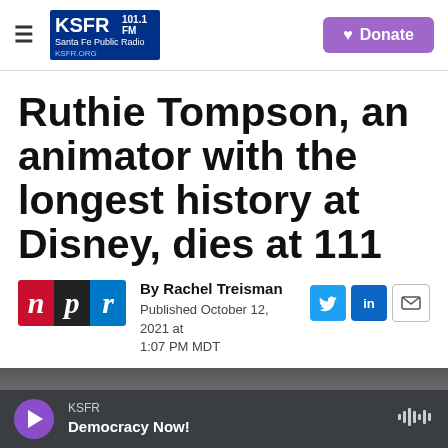KSFR 101.1 FM — Santa Fe Public Radio | Donate
Ruthie Tompson, an animator with the longest history at Disney, dies at 111
By Rachel Treisman
Published October 12, 2021 at 1:07 PM MDT
[Figure (photo): Partial photo visible at bottom of article, person in background]
KSFR — Democracy Now!